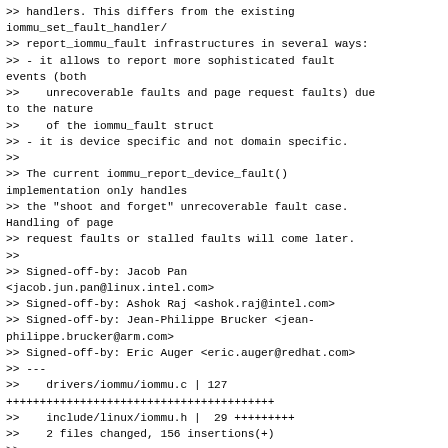>> handlers. This differs from the existing iommu_set_fault_handler/
>> report_iommu_fault infrastructures in several ways:
>> - it allows to report more sophisticated fault events (both
>>    unrecoverable faults and page request faults) due to the nature
>>    of the iommu_fault struct
>> - it is device specific and not domain specific.
>>
>> The current iommu_report_device_fault() implementation only handles
>> the "shoot and forget" unrecoverable fault case. Handling of page
>> request faults or stalled faults will come later.
>>
>> Signed-off-by: Jacob Pan
<jacob.jun.pan@linux.intel.com>
>> Signed-off-by: Ashok Raj <ashok.raj@intel.com>
>> Signed-off-by: Jean-Philippe Brucker <jean-philippe.brucker@arm.com>
>> Signed-off-by: Eric Auger <eric.auger@redhat.com>
>> ---
>>    drivers/iommu/iommu.c | 127
++++++++++++++++++++++++++++++++++++++++
>>    include/linux/iommu.h |  29 +++++++++
>>    2 files changed, 156 insertions(+)
>>
>> diff --git a/drivers/iommu/iommu.c b/drivers/iommu/iommu.c
>> index 67aa6623f8b2..d546f7bce0d4 100644